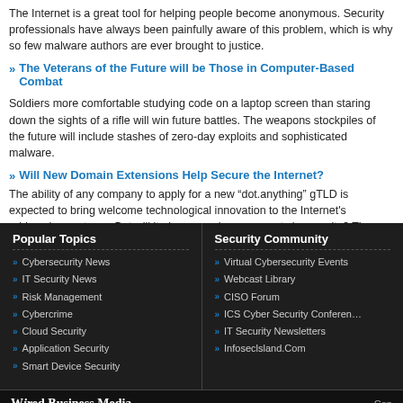The Internet is a great tool for helping people become anonymous. Security professionals have always been painfully aware of this problem, which is why so few malware authors are ever brought to justice.
The Veterans of the Future will be Those in Computer-Based Combat
Soldiers more comfortable studying code on a laptop screen than staring down the sights of a rifle will win future battles. The weapons stockpiles of the future will include stashes of zero-day exploits and sophisticated malware.
Will New Domain Extensions Help Secure the Internet?
The ability of any company to apply for a new “dot.anything” gTLD is expected to bring welcome technological innovation to the Internet’s addressing systems. But will it also spur improvements in security? There are good reasons to believe it may, particularly within the addressing system.
Popular Topics
Cybersecurity News
IT Security News
Risk Management
Cybercrime
Cloud Security
Application Security
Smart Device Security
Security Community
Virtual Cybersecurity Events
Webcast Library
CISO Forum
ICS Cyber Security Conference
IT Security Newsletters
Infoseclsland.Com
Wired Business Media  Cop